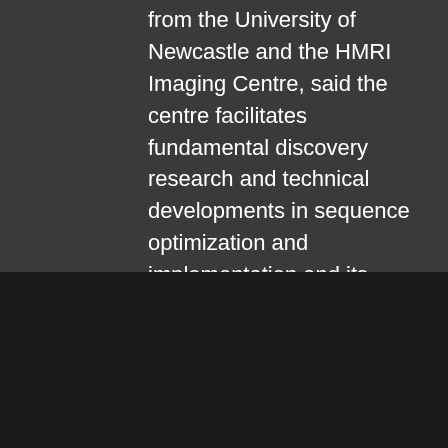from the University of Newcastle and the HMRI Imaging Centre, said the centre facilitates fundamental discovery research and technical developments in sequence optimization and implementation and its partnership with the University of Newcastle, Hunter New England Local Health District (HNELHD) and NSW Regional Health
We use cookies to enhance your experience while using our website. To learn more about the cookies we use and the data we collect, please check our Privacy Policy .